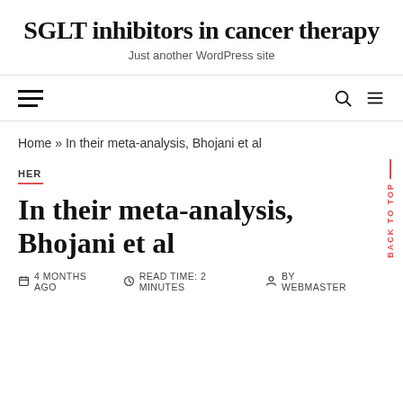SGLT inhibitors in cancer therapy
Just another WordPress site
Home » In their meta-analysis, Bhojani et al
HER
In their meta-analysis, Bhojani et al
4 MONTHS AGO   READ TIME: 2 MINUTES   BY WEBMASTER